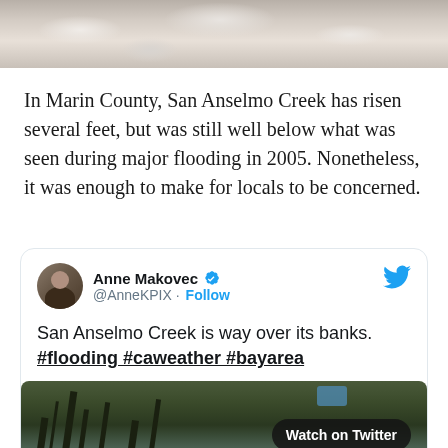[Figure (photo): Top portion of a flooding creek or river, showing turbulent water with rocks and debris, cropped at top of page.]
In Marin County, San Anselmo Creek has risen several feet, but was still well below what was seen during major flooding in 2005. Nonetheless, it was enough to make for locals to be concerned.
[Figure (screenshot): Embedded tweet from Anne Makovec (@AnneKPIX) with blue verified badge and Follow button. Tweet text: 'San Anselmo Creek is way over its banks. #flooding #caweather #bayarea'. Below tweet text is a photo of flooded creek area with bare tree branches and a 'Watch on Twitter' button overlay.]